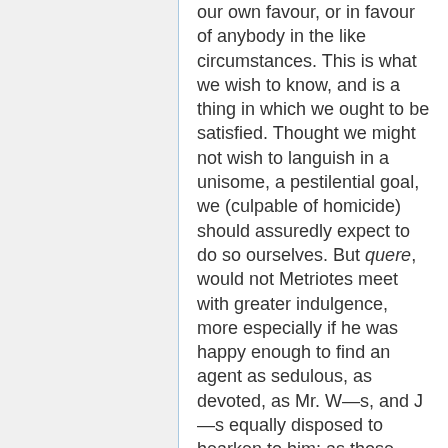our own favour, or in favour of anybody in the like circumstances. This is what we wish to know, and is a thing in which we ought to be satisfied. Thought we might not wish to languish in a unisome, a pestilential goal, we (culpable of homicide) should assuredly expect to do so ourselves. But quere, would not Metriotes meet with greater indulgence, more especially if he was happy enough to find an agent as sedulous, as devoted, as Mr. W—s, and J—s equally disposed to hearken to him; as those were who so precipitately